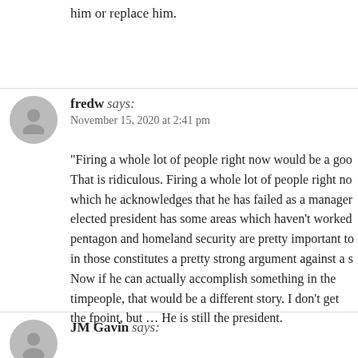him or replace him.
fredw says:
November 15, 2020 at 2:41 pm
“Firing a whole lot of people right now would be a goo… That is ridiculous. Firing a whole lot of people right no… which he acknowledges that he has failed as a manager… elected president has some areas which haven’t worked… pentagon and homeland security are pretty important to… in those constitutes a pretty strong argument against a s… Now if he can actually accomplish something in the tim… people, that would be a different story. I don’t get the f… point, but … He is still the president.
JM Gavin says: